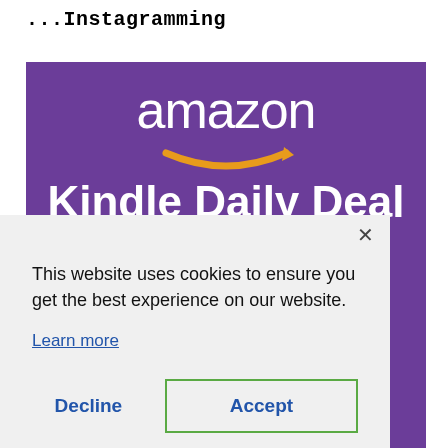...Instagramming
[Figure (screenshot): Amazon Kindle Daily Deal advertisement banner with purple background. Shows 'amazon' in white text with orange arrow/smile logo, then 'Kindle Daily Deal today only!' in large bold white text.]
This website uses cookies to ensure you get the best experience on our website.
Learn more
Decline
Accept